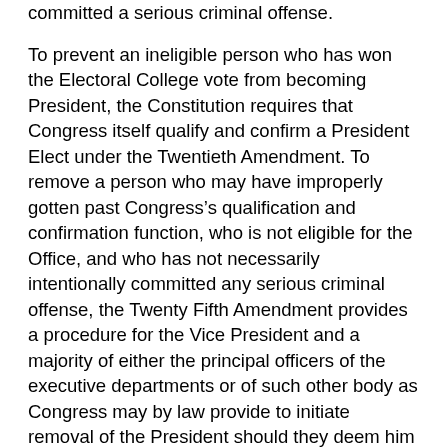committed a serious criminal offense. To prevent an ineligible person who has won the Electoral College vote from becoming President, the Constitution requires that Congress itself qualify and confirm a President Elect under the Twentieth Amendment. To remove a person who may have improperly gotten past Congress’s qualification and confirmation function, who is not eligible for the Office, and who has not necessarily intentionally committed any serious criminal offense, the Twenty Fifth Amendment provides a procedure for the Vice President and a majority of either the principal officers of the executive departments or of such other body as Congress may by law provide to initiate removal of the President should they deem him “unable to discharge the powers and duties of his office.” The amendment does not limit the scope of the President being “unable” to function, suggesting that such inability can included physical, mental, or legal inabilities. Inability to discharge the powers and duties of an office surely includes the lack of legal capacity to perform those powers and duties. Lack of legal capacity in that regard can be